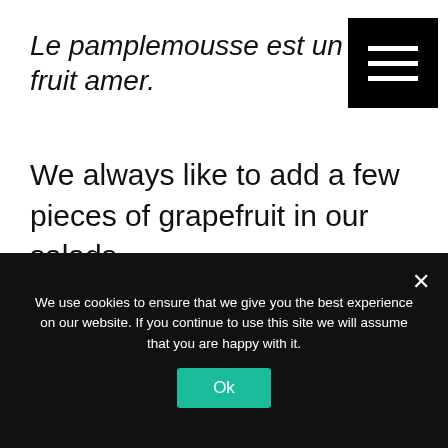Le pamplemousse est un fruit amer.
We always like to add a few pieces of grapefruit in our salads.
Nous aimons toujours ajouter quelques morceaux de pamplemousse dans nos salades.
We use cookies to ensure that we give you the best experience on our website. If you continue to use this site we will assume that you are happy with it.